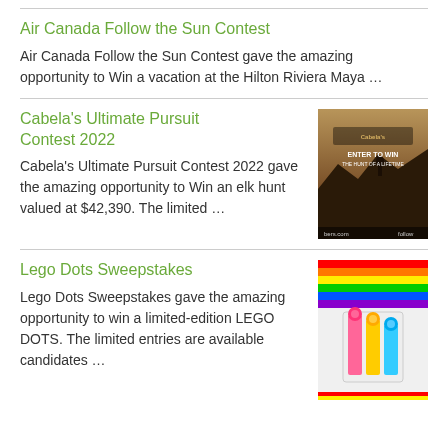Air Canada Follow the Sun Contest
Air Canada Follow the Sun Contest gave the amazing opportunity to Win a vacation at the Hilton Riviera Maya …
Cabela's Ultimate Pursuit Contest 2022
Cabela's Ultimate Pursuit Contest 2022 gave the amazing opportunity to Win an elk hunt valued at $42,390. The limited …
[Figure (photo): Cabela's Ultimate Pursuit Contest advertisement showing a person on a hilltop with text 'Enter to Win The Hunt of a Lifetime'. Bottom bar shows 'bers.com' and 'follow'.]
Lego Dots Sweepstakes
Lego Dots Sweepstakes gave the amazing opportunity to win a limited-edition LEGO DOTS. The limited entries are available candidates …
[Figure (photo): Lego Dots Sweepstakes image showing colorful LEGO DOTS set with rainbow colors and building blocks.]